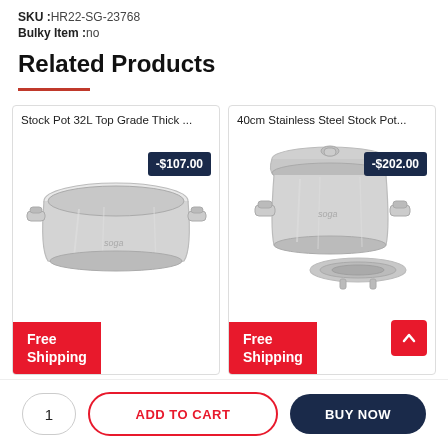SKU :HR22-SG-23768
Bulky Item :no
Related Products
[Figure (photo): Stock Pot 32L Top Grade Thick stainless steel wide shallow pot with two handles, product by Soga, with -$107.00 discount badge and Free Shipping label]
[Figure (photo): 40cm Stainless Steel Stock Pot tall cylindrical pot with lid and steamer rack, product by Soga, with -$202.00 discount badge and Free Shipping label]
1
ADD TO CART
BUY NOW